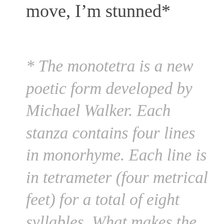move, I'm stunned*
* The monotetra is a new poetic form developed by Michael Walker. Each stanza contains four lines in monorhyme. Each line is in tetrameter (four metrical feet) for a total of eight syllables. What makes the monotetra so powerful as a poetic form, is that the last line contains two metrical feet.